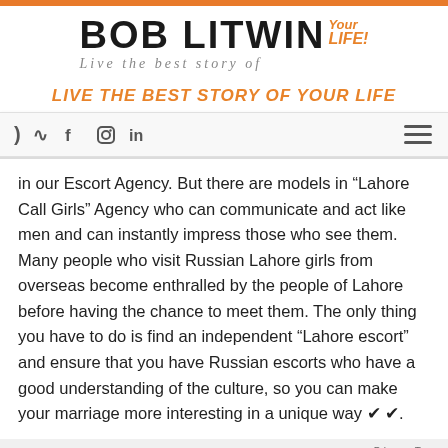[Figure (logo): Bob Litwin 'Live the best story of Your LIFE!' logo with orange accent text]
LIVE THE BEST STORY OF YOUR LIFE
[Figure (screenshot): Navigation bar with social media icons (RSS, Facebook, Instagram, LinkedIn) and hamburger menu]
in our Escort Agency. But there are models in “Lahore Call Girls” Agency who can communicate and act like men and can instantly impress those who see them. Many people who visit Russian Lahore girls from overseas become enthralled by the people of Lahore before having the chance to meet them. The only thing you have to do is find an independent “Lahore escort” and ensure that you have Russian escorts who have a good understanding of the culture, so you can make your marriage more interesting in a unique way ✔ ✔.